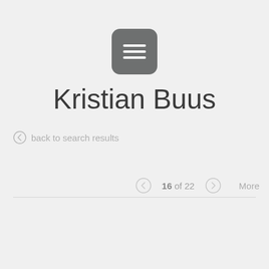[Figure (other): Gray rounded square icon with three horizontal white lines (hamburger/menu icon)]
Kristian Buus
← back to search results
← 16 of 22 → More